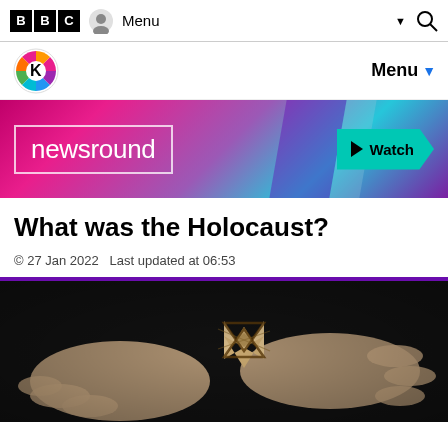BBC  Menu  🔍
[Figure (logo): CBBC logo with colorful segments and Menu dropdown]
[Figure (infographic): Newsround banner with gradient background (pink to purple to teal), Newsround logo text in white border box, and Watch button in teal]
What was the Holocaust?
© 27 Jan 2022  Last updated at 06:53
[Figure (photo): Close-up photo of two hands holding a worn Star of David badge on dark background]